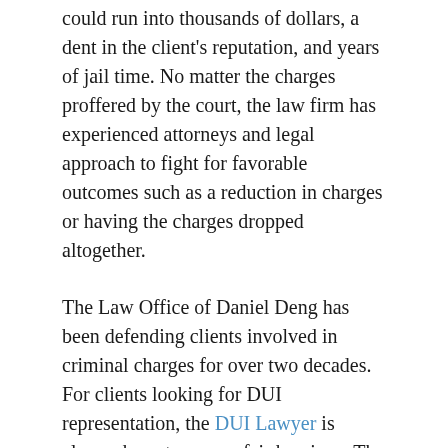could run into thousands of dollars, a dent in the client's reputation, and years of jail time. No matter the charges proffered by the court, the law firm has experienced attorneys and legal approach to fight for favorable outcomes such as a reduction in charges or having the charges dropped altogether.
The Law Office of Daniel Deng has been defending clients involved in criminal charges for over two decades. For clients looking for DUI representation, the DUI Lawyer is always keen to ensure fair hearings. The law firm understands the consequences of a DUI conviction and has marshaled a team with the necessary experience to deal with the matter exhaustively. For first-time offenders facing DUI charges, the lawyer can very well negotiate a favorable deal on their behalf.
The Law Office of Daniel Deng also represents clients